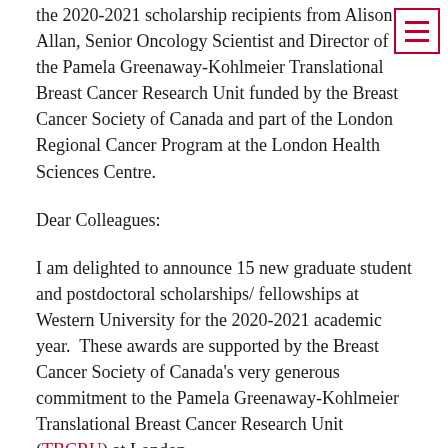the 2020-2021 scholarship recipients from Alison Allan, Senior Oncology Scientist and Director of the Pamela Greenaway-Kohlmeier Translational Breast Cancer Research Unit funded by the Breast Cancer Society of Canada and part of the London Regional Cancer Program at the London Health Sciences Centre.
Dear Colleagues:
I am delighted to announce 15 new graduate student and postdoctoral scholarships/fellowships at Western University for the 2020-2021 academic year.  These awards are supported by the Breast Cancer Society of Canada's very generous commitment to the Pamela Greenaway-Kohlmeier Translational Breast Cancer Research Unit (TBCRU) at London